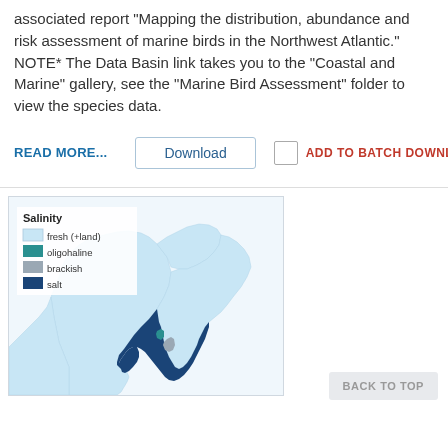associated report "Mapping the distribution, abundance and risk assessment of marine birds in the Northwest Atlantic." NOTE* The Data Basin link takes you to the "Coastal and Marine" gallery, see the "Marine Bird Assessment" folder to view the species data.
READ MORE...
Download
ADD TO BATCH DOWNLOAD
[Figure (map): Map showing salinity zones in the Northeast US coastal region. Legend shows: fresh (+land) in light blue, oligohaline in teal, brackish in gray, salt in dark navy blue. The map depicts the coastline from Maine south through New England with salinity colors applied to waterbodies.]